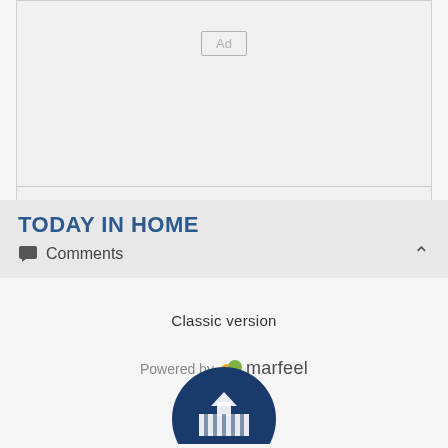[Figure (other): Ad placeholder box with 'Ad' label in center-top]
TODAY IN HOME
Comments
Classic version
Powered by marfeel
[Figure (logo): Circular logo with blue background and white building/capitol icon at bottom of page]